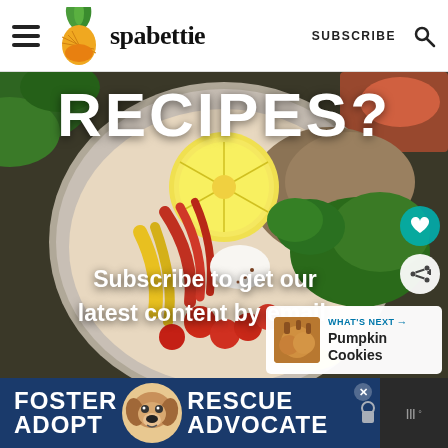spabettie | SUBSCRIBE
[Figure (photo): Food bowl with salad ingredients — lemon slices, yellow and red peppers, cherry tomatoes, greens, quinoa, and herbs. Overlay text reads: RECIPES? Subscribe to get our latest content by email.]
[Figure (photo): WHAT'S NEXT: Pumpkin Cookies thumbnail]
[Figure (infographic): FOSTER ADOPT | RESCUE ADVOCATE dog rescue advertisement banner with a dog photo]